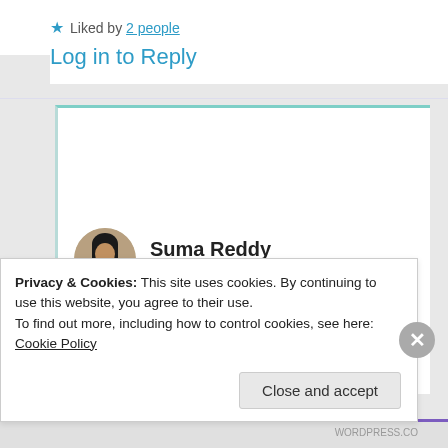★ Liked by 2 people
Log in to Reply
Suma Reddy
11th Jun 2021 at 1:23 pm
Thank you much, glad you liked it 😇
★ Like
Privacy & Cookies: This site uses cookies. By continuing to use this website, you agree to their use.
To find out more, including how to control cookies, see here: Cookie Policy
Close and accept